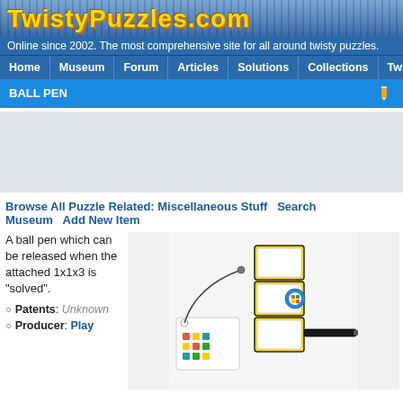TwistyPuzzles.com
Online since 2002. The most comprehensive site for all around twisty puzzles.
Home | Museum | Forum | Articles | Solutions | Collections | Twistypedia
BALL PEN
[Figure (other): Advertisement placeholder area (gray box)]
Browse All Puzzle Related: Miscellaneous Stuff   Search Museum   Add New Item
A ball pen which can be released when the attached 1x1x3 is "solved".
Patents: Unknown
Producer: Play
[Figure (photo): Photo of a ball pen attached to a Rubik's cube style 1x1x3 puzzle with a keychain tag]